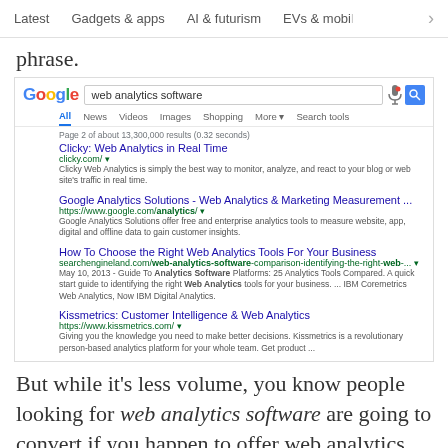Latest   Gadgets & apps   AI & futurism   EVs & mobi  >
phrase.
[Figure (screenshot): Google search results screenshot for 'web analytics software' showing search bar, navigation tabs, result count 'Page 2 of about 13,300,000 results (0.32 seconds)', and four search results: Clicky: Web Analytics in Real Time, Google Analytics Solutions - Web Analytics & Marketing Measurement ..., How To Choose the Right Web Analytics Tools For Your Business, Kissmetrics: Customer Intelligence & Web Analytics]
But while it's less volume, you know people looking for web analytics software are going to convert if you happen to offer web analytics.